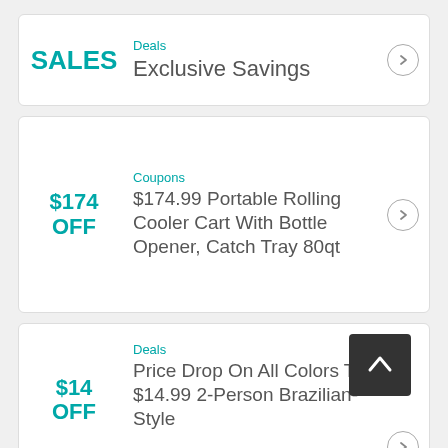SALES
Deals
Exclusive Savings
$174 OFF
Coupons
$174.99 Portable Rolling Cooler Cart With Bottle Opener, Catch Tray 80qt
$14 OFF
Deals
Price Drop On All Colors To $14.99 2-Person Brazilian-Style